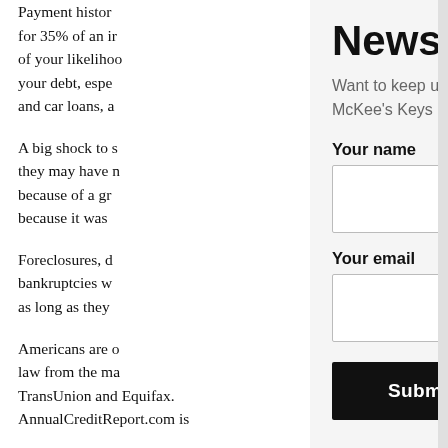Payment histor for 35% of an ir of your likelihoo your debt, espe and car loans, a
A big shock to s they may have n because of a gr because it was
Foreclosures, d bankruptcies w as long as they
Americans are l law from the ma TransUnion and Equifax. AnnualCreditReport.com is
Newsletter
Want to keep up with the Dallas and Fort Worth real estate market? Sign up for McKee's Keys Newsletter. It comes out monthly, sometimes twice a month!
Your name
Your email
Submit